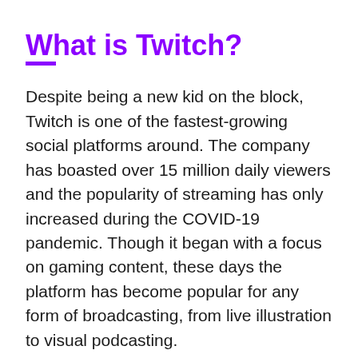What is Twitch?
Despite being a new kid on the block, Twitch is one of the fastest-growing social platforms around. The company has boasted over 15 million daily viewers and the popularity of streaming has only increased during the COVID-19 pandemic. Though it began with a focus on gaming content, these days the platform has become popular for any form of broadcasting, from live illustration to visual podcasting.
What is a streamer?